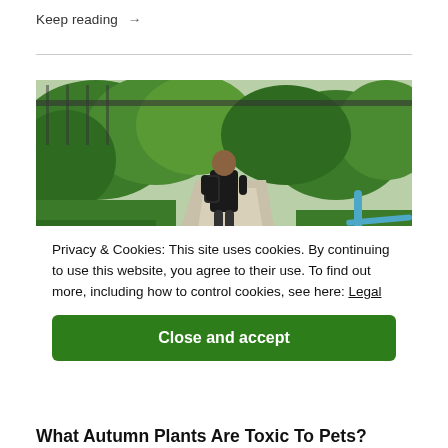Keep reading →
[Figure (photo): Man with backpack walking along a path surrounded by lush green bushes and trees, with a blue railing visible on the right side]
Privacy & Cookies: This site uses cookies. By continuing to use this website, you agree to their use. To find out more, including how to control cookies, see here: Legal
Close and accept
What Autumn Plants Are Toxic To Pets?